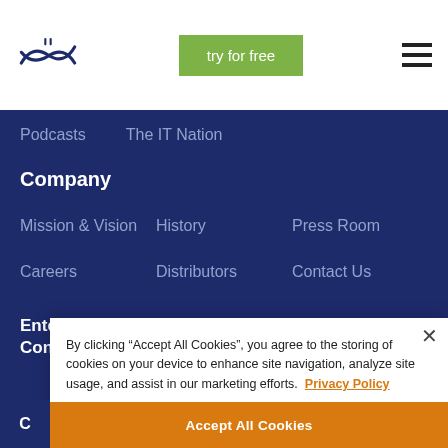ConnectWise logo | try for free | menu
Podcasts
The IT Nation
Company
Mission & Vision
History
Press Room
Careers
Distributors
Contact Us
Enter your email address to receive updates from ConnectWise
By clicking “Accept All Cookies”, you agree to the storing of cookies on your device to enhance site navigation, analyze site usage, and assist in our marketing efforts. Privacy Policy
Accept All Cookies